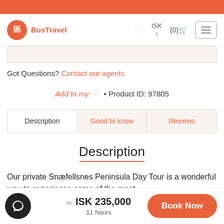BusTravel — ISK (0) [cart] [menu]
Got Questions? Contact our agents
Add to my ♡ • Product ID: 97805
Description | Good to know | Reviews
Description
Our private Snæfellsnes Peninsula Day Tour is a wonderful way to experience some of the most
From: ISK 235,000
11 hours
Book Now